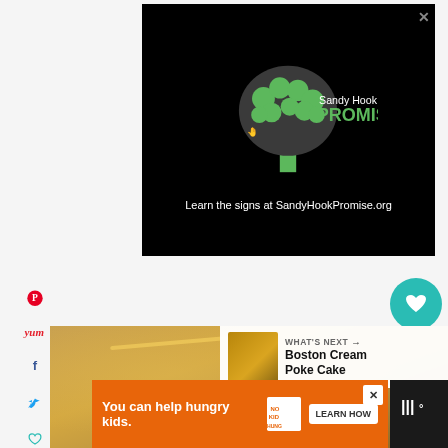[Figure (other): Left social sharing sidebar with Pinterest, Yummly, Facebook, Twitter, and heart/save icons]
[Figure (other): Sandy Hook Promise advertisement: black background with green tree logo made of hands, text 'Sandy Hook PROMISE' and 'Learn the signs at SandyHookPromise.org']
[Figure (other): Right side: teal heart FAB button with 139 count and share icon button]
[Figure (photo): Golden/yellow food image (likely a cake or dessert) with 'WHAT'S NEXT' overlay showing Boston Cream Poke Cake thumbnail and title]
WHAT'S NEXT
Boston Cream Poke Cake
139
[Figure (other): Bottom orange advertisement banner: 'You can help hungry kids.' with No Kid Hungry logo and 'LEARN HOW' button]
You can help hungry kids.
LEARN HOW